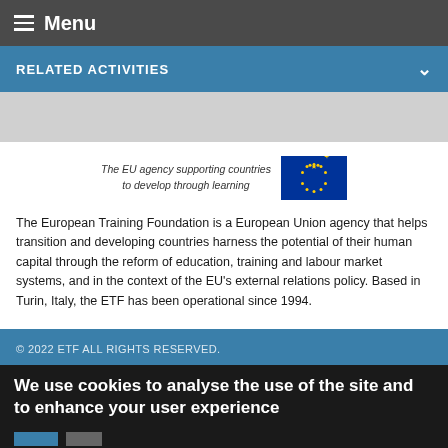Menu
RELATED ACTIVITIES
[Figure (logo): EU agency logo with text 'The EU agency supporting countries to develop through learning' and EU flag with blue background and yellow stars]
The European Training Foundation is a European Union agency that helps transition and developing countries harness the potential of their human capital through the reform of education, training and labour market systems, and in the context of the EU's external relations policy. Based in Turin, Italy, the ETF has been operational since 1994.
© 2022 ETF ALL RIGHTS RESERVED.
We use cookies to analyse the use of the site and to enhance your user experience